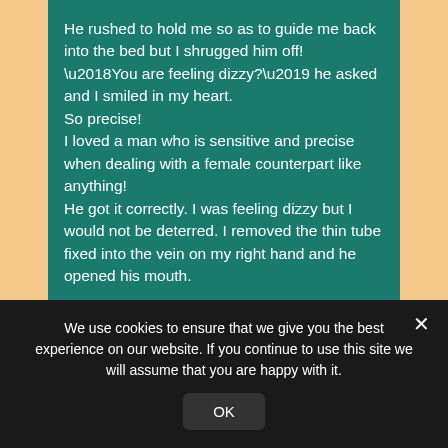He rushed to hold me so as to guide me back into the bed but I shrugged him off!
‘You are feeling dizzy?’ he asked and I smiled in my heart.
So precise!
I loved a man who is sensitive and precise when dealing with a female counterpart like anything!
He got it correctly. I was feeling dizzy but I would not be deterred. I removed the thin tube fixed into the vein on my right hand and he opened his mouth.
We use cookies to ensure that we give you the best experience on our website. If you continue to use this site we will assume that you are happy with it.